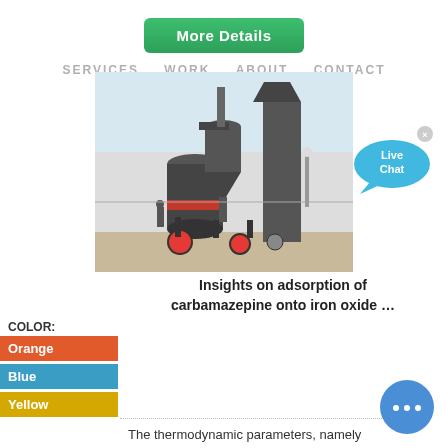More Details
SERVICES   WORK   ABOUT   CONTACT
[Figure (photo): Industrial grinding/milling machinery with cyclone separators and bucket elevator at a construction site]
Insights on adsorption of carbamazepine onto iron oxide …
COLOR:
Orange
Blue
Yellow
The thermodynamic parameters, namely